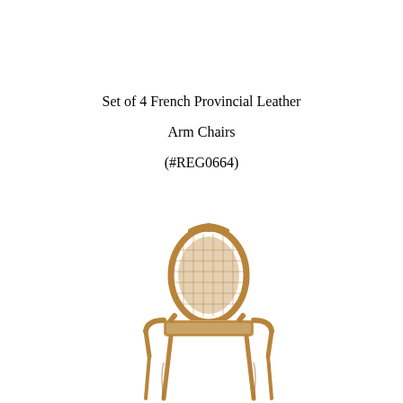Set of 4 French Provincial Leather Arm Chairs (#REG0664)
[Figure (photo): A French Provincial style arm chair with cane back and wooden frame in a warm honey/tan finish, photographed on white background.]